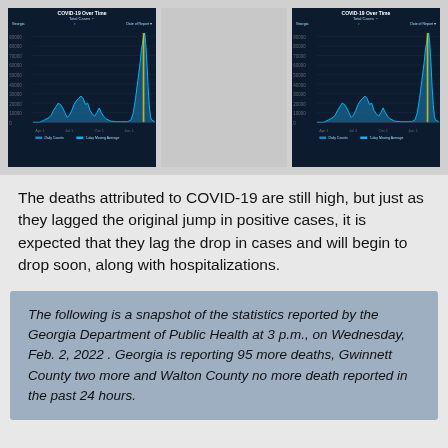[Figure (continuous-plot): COVID-19 Over Time chart showing Total Cases for Georgia with multiple epidemic waves, dark blue background with cyan/blue area chart, sharp tall spike at right end]
[Figure (continuous-plot): COVID-19 Over Time chart (right panel) showing Total Cases for Georgia with same wave pattern as left chart, dark blue background]
The deaths attributed to COVID-19 are still high, but just as they lagged the original jump in positive cases, it is expected that they lag the drop in cases and will begin to drop soon, along with hospitalizations.
The following is a snapshot of the statistics reported by the Georgia Department of Public Health at 3 p.m., on Wednesday, Feb. 2, 2022 . Georgia is reporting 95 more deaths, Gwinnett County two more and Walton County no more death reported in the past 24 hours.